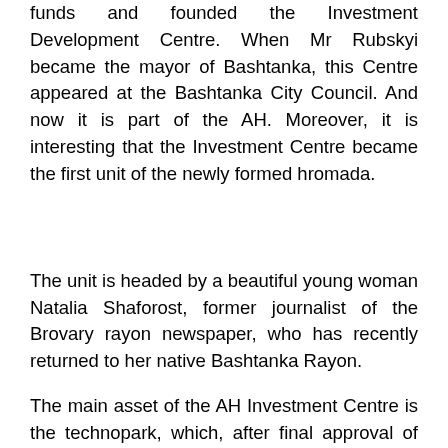funds and founded the Investment Development Centre. When Mr Rubskyi became the mayor of Bashtanka, this Centre appeared at the Bashtanka City Council. And now it is part of the AH. Moreover, it is interesting that the Investment Centre became the first unit of the newly formed hromada.
The unit is headed by a beautiful young woman Natalia Shaforost, former journalist of the Brovary rayon newspaper, who has recently returned to her native Bashtanka Rayon.
The main asset of the AH Investment Centre is the technopark, which, after final approval of Bashtanka general plan by the State Construction Inspection, should become part of the city. Its area is 148 hectares, and all necessary communications have been brought to